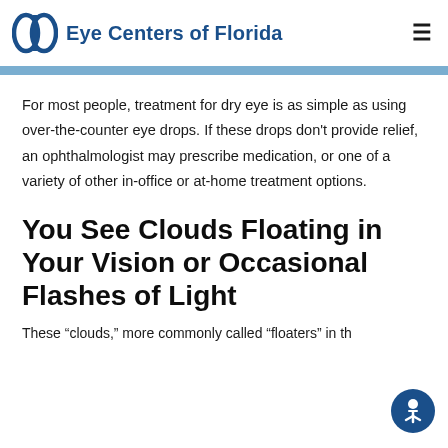Eye Centers of Florida
For most people, treatment for dry eye is as simple as using over-the-counter eye drops. If these drops don't provide relief, an ophthalmologist may prescribe medication, or one of a variety of other in-office or at-home treatment options.
You See Clouds Floating in Your Vision or Occasional Flashes of Light
These “clouds,” more commonly called “floaters” in th